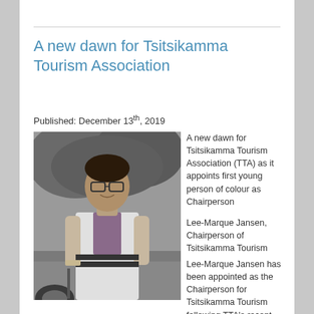A new dawn for Tsitsikamma Tourism Association
Published: December 13th, 2019
[Figure (photo): Black and white photo of Lee-Marque Jansen, a young man wearing glasses and a patterned shirt, standing outdoors near a car.]
A new dawn for Tsitsikamma Tourism Association (TTA) as it appoints first young person of colour as Chairperson
Lee-Marque Jansen, Chairperson of Tsitsikamma Tourism Association
Lee-Marque Jansen has been appointed as the Chairperson for Tsitsikamma Tourism following TTA's recent